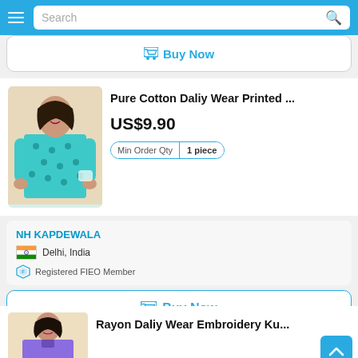Search
Buy Now
[Figure (photo): Girl wearing teal/turquoise printed cotton kurti]
Pure Cotton Daliy Wear Printed ...
US$9.90
Min Order Qty  1 piece
NH KAPDEWALA
Delhi, India
Registered FIEO Member
Buy Now
[Figure (photo): Girl wearing embroidery kurti, partially visible]
Rayon Daliy Wear Embroidery Ku...